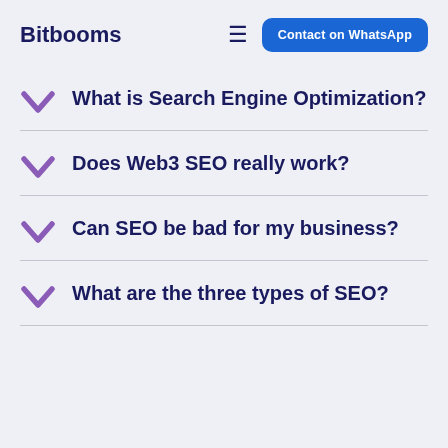Bitbooms
What is Search Engine Optimization?
Does Web3 SEO really work?
Can SEO be bad for my business?
What are the three types of SEO?